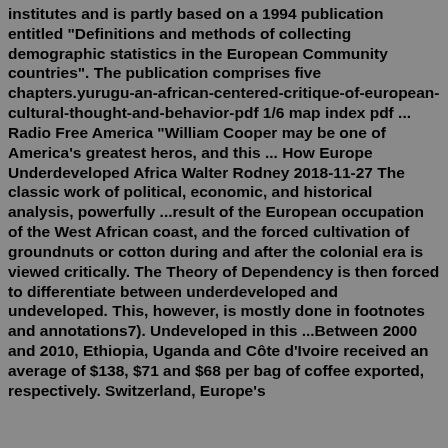institutes and is partly based on a 1994 publication entitled "Definitions and methods of collecting demographic statistics in the European Community countries". The publication comprises five chapters.yurugu-an-african-centered-critique-of-european-cultural-thought-and-behavior-pdf 1/6 map index pdf ... Radio Free America "William Cooper may be one of America's greatest heros, and this ... How Europe Underdeveloped Africa Walter Rodney 2018-11-27 The classic work of political, economic, and historical analysis, powerfully ...result of the European occupation of the West African coast, and the forced cultivation of groundnuts or cotton during and after the colonial era is viewed critically. The Theory of Dependency is then forced to differentiate between underdeveloped and undeveloped. This, however, is mostly done in footnotes and annotations7). Undeveloped in this ...Between 2000 and 2010, Ethiopia, Uganda and Côte d'Ivoire received an average of $138, $71 and $68 per bag of coffee exported, respectively. Switzerland, Europe's